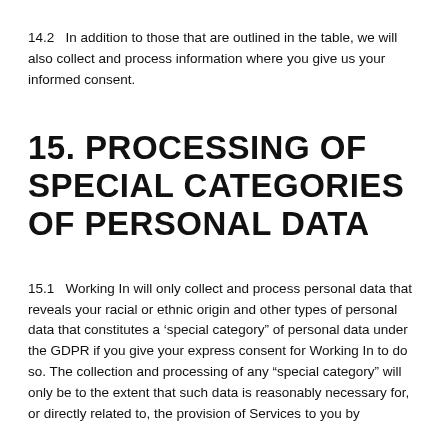14.2   In addition to those that are outlined in the table, we will also collect and process information where you give us your informed consent.
15. PROCESSING OF SPECIAL CATEGORIES OF PERSONAL DATA
15.1   Working In will only collect and process personal data that reveals your racial or ethnic origin and other types of personal data that constitutes a ‘special category” of personal data under the GDPR if you give your express consent for Working In to do so. The collection and processing of any “special category” will only be to the extent that such data is reasonably necessary for, or directly related to, the provision of Services to you by